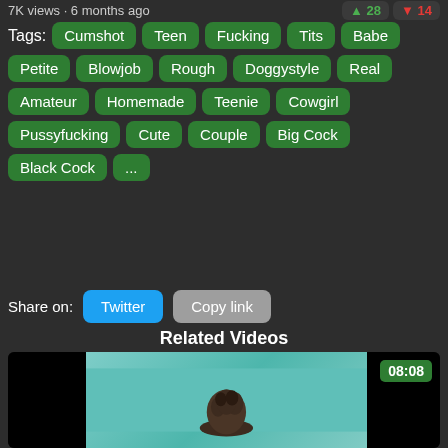7K views · 6 months ago
Tags: Cumshot Teen Fucking Tits Babe Petite Blowjob Rough Doggystyle Real Amateur Homemade Teenie Cowgirl Pussyfucking Cute Couple Big Cock Black Cock ...
Share on: Twitter Copy link
Related Videos
[Figure (screenshot): Video thumbnail showing a person with curly hair from behind, in what appears to be a pool or water setting, with black bars on left and right sides. Duration badge shows 08:08.]